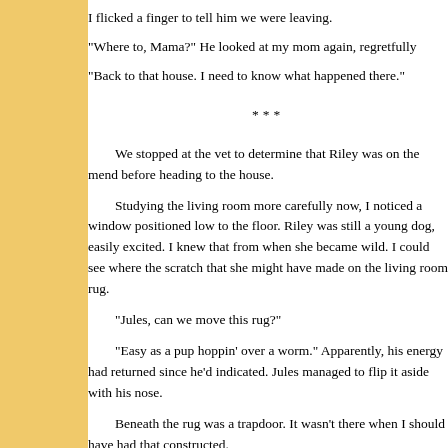I flicked a finger to tell him we were leaving.
"Where to, Mama?" He looked at my mom again, regretfully
"Back to that house. I need to know what happened there."
***
We stopped at the vet to determine that Riley was on the mend before heading to the house.
Studying the living room more carefully now, I noticed a window positioned low to the floor. Riley was still a young dog, easily excited. I knew that from when she became wild. I could see where the scratch that she might have made on the living room rug.
"Jules, can we move this rug?"
"Easy as a pup hoppin' over a worm." Apparently, his energy had returned since he'd indicated. Jules managed to flip it aside with his nose.
Beneath the rug was a trapdoor. It wasn't there when I should have had that constructed.